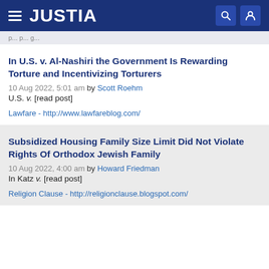JUSTIA
In U.S. v. Al-Nashiri the Government Is Rewarding Torture and Incentivizing Torturers
10 Aug 2022, 5:01 am by Scott Roehm
U.S. v. [read post]
Lawfare - http://www.lawfareblog.com/
Subsidized Housing Family Size Limit Did Not Violate Rights Of Orthodox Jewish Family
10 Aug 2022, 4:00 am by Howard Friedman
In Katz v. [read post]
Religion Clause - http://religionclause.blogspot.com/